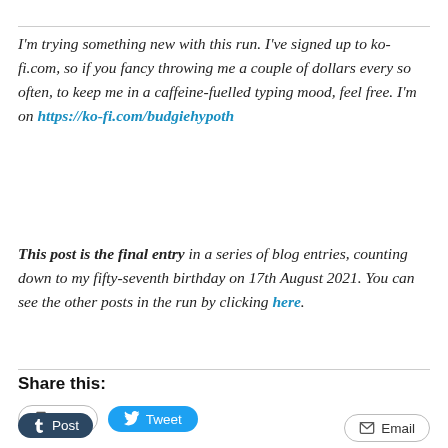I'm trying something new with this run. I've signed up to ko-fi.com, so if you fancy throwing me a couple of dollars every so often, to keep me in a caffeine-fuelled typing mood, feel free. I'm on https://ko-fi.com/budgiehypoth
This post is the final entry in a series of blog entries, counting down to my fifty-seventh birthday on 17th August 2021. You can see the other posts in the run by clicking here.
Share this:
Print
Tweet
Post
Email